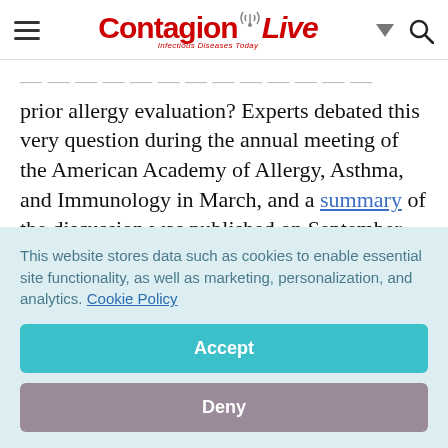ContagionLive — Infectious Diseases Today
prior allergy evaluation? Experts debated this very question during the annual meeting of the American Academy of Allergy, Asthma, and Immunology in March, and a summary of the discussion was published on September 22, 2017, in the Journal of Allergy and Clinical
This website stores data such as cookies to enable essential site functionality, as well as marketing, personalization, and analytics. Cookie Policy
Accept
Deny